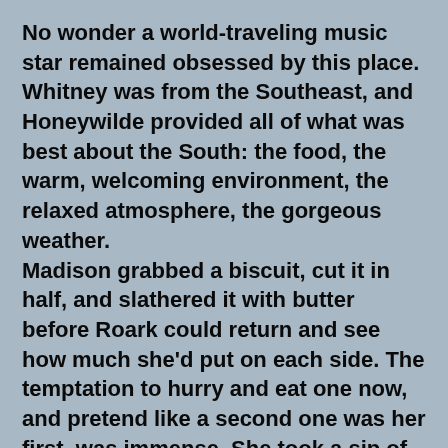No wonder a world-traveling music star remained obsessed by this place. Whitney was from the Southeast, and Honeywilde provided all of what was best about the South: the food, the warm, welcoming environment, the relaxed atmosphere, the gorgeous weather.
Madison grabbed a biscuit, cut it in half, and slathered it with butter before Roark could return and see how much she'd put on each side. The temptation to hurry and eat one now, and pretend like a second one was her first, was immense. She took a sip of her coffee while the butter melted. Roark appeared in the restaurant doorway a moment later.
Damn.
Not because she'd missed her opportunity for